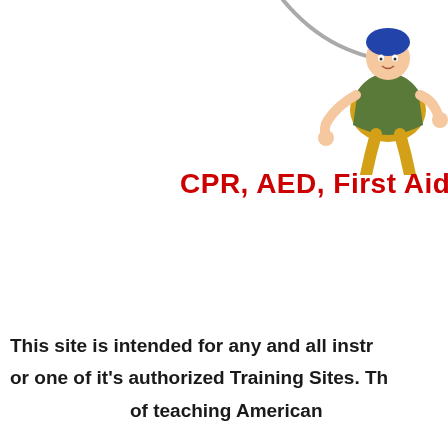[Figure (illustration): Cartoon illustration of a person performing CPR or first aid, wearing green and yellow clothing, positioned in the upper right corner of the page. A gray line/rope extends from the figure.]
CPR, AED, First Aid, ACLS
This site is intended for any and all instr or one of it's authorized Training Sites. Th of teaching American